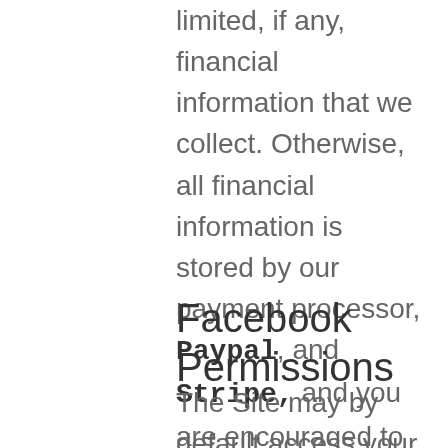limited, if any, financial information that we collect. Otherwise, all financial information is stored by our payment processor, Paypal, and Stripe, and you are encouraged to review their privacy policy and contact them directly for responses to your questions.
Facebook Permissions
The Site may by default access your Facebook basic account information, including your